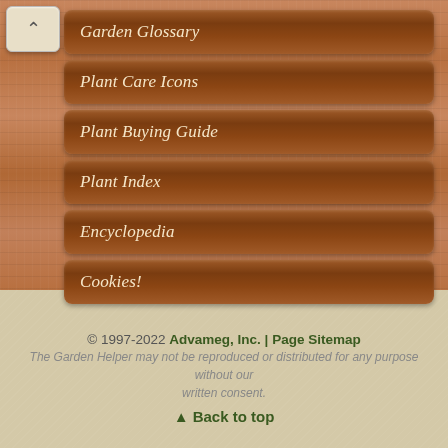Garden Glossary
Plant Care Icons
Plant Buying Guide
Plant Index
Encyclopedia
Cookies!
© 1997-2022 Advameg, Inc. | Page Sitemap
The Garden Helper may not be reproduced or distributed for any purpose without our written consent.
▲ Back to top